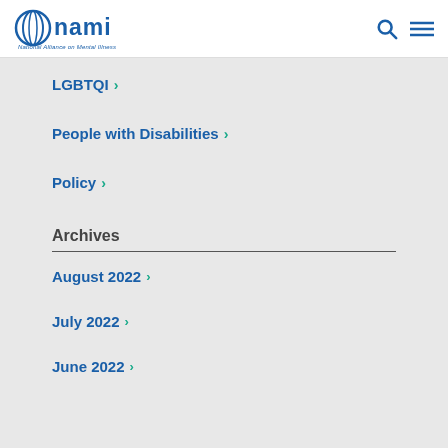NAMI — National Alliance on Mental Illness
LGBTQI
People with Disabilities
Policy
Archives
August 2022
July 2022
June 2022